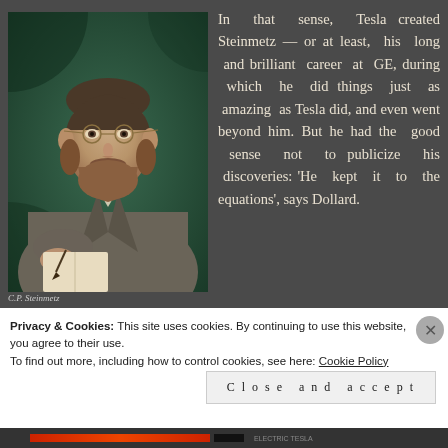[Figure (photo): Portrait painting of C.P. Steinmetz, a bearded man in a grey jacket seated with a book and pen, against a dark teal background]
C.P. Steinmetz
In that sense, Tesla created Steinmetz — or at least, his long and brilliant career at GE, during which he did things just as amazing as Tesla did, and even went beyond him. But he had the good sense not to publicize his discoveries: 'He kept it to the equations', says Dollard.
Privacy & Cookies: This site uses cookies. By continuing to use this website, you agree to their use.
To find out more, including how to control cookies, see here: Cookie Policy